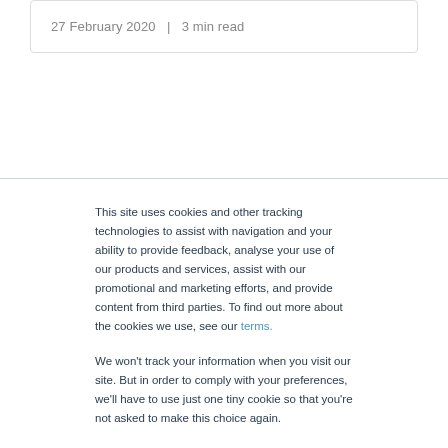27 February 2020   |   3 min read
This site uses cookies and other tracking technologies to assist with navigation and your ability to provide feedback, analyse your use of our products and services, assist with our promotional and marketing efforts, and provide content from third parties. To find out more about the cookies we use, see our terms.
We won't track your information when you visit our site. But in order to comply with your preferences, we'll have to use just one tiny cookie so that you're not asked to make this choice again.
Accept | Decline